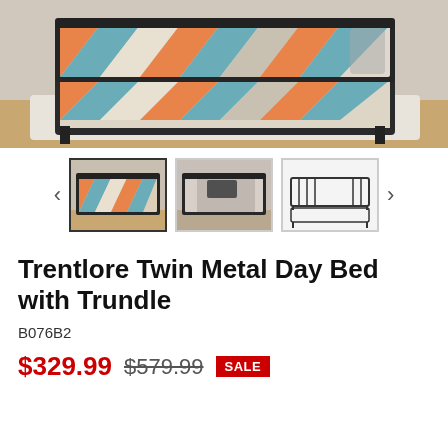[Figure (photo): Main product photo showing Trentlore Twin Metal Day Bed with Trundle — black metal frame with colorful geometric-patterned orange, teal, and white quilt/bedding on both the main daybed and the pullout trundle, set on a white rug in a room with wood floors.]
[Figure (photo): Three thumbnail images of the same daybed: first thumbnail (selected, with dark border) shows room scene with colorful quilt; second thumbnail shows room scene with grey/floral bedding; third thumbnail shows product line drawing on white background.]
Trentlore Twin Metal Day Bed with Trundle
B076B2
$329.99 $579.99 SALE